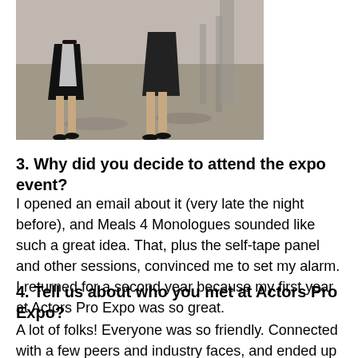[Figure (photo): Cropped photo showing the lower bodies and legs of two women standing on a concrete floor at an expo event. One woman wears a black and white outfit with heels, visible from waist down.]
3. Why did you decide to attend the expo event?
I opened an email about it (very late the night before), and Meals 4 Monologues sounded like such a great idea. That, plus the self-tape panel and other sessions, convinced me to set my alarm. I returned for a second year because my first year at Actors Pro Expo was so great.
4. Tell us about who you met at Actors Pro Expo?
A lot of folks! Everyone was so friendly. Connected with a few peers and industry faces, and ended up getting to